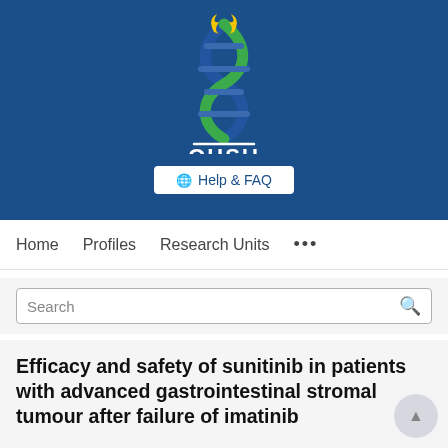[Figure (logo): OHSU (Oregon Health & Science University) logo: stylized DNA double helix with blue, green, and gold flame design, with white text 'OHSU' below on a blue background banner]
[Figure (screenshot): Help & FAQ button in white on blue background]
[Figure (screenshot): Navigation bar with Home, Profiles, Research Units, and more options (...)]
[Figure (screenshot): Search bar with magnifying glass icon on grey background]
Efficacy and safety of sunitinib in patients with advanced gastrointestinal stromal tumour after failure of imatinib